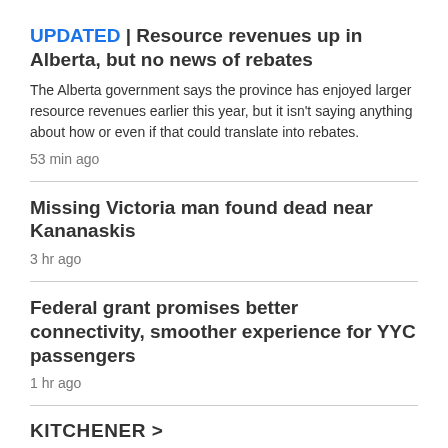UPDATED | Resource revenues up in Alberta, but no news of rebates
The Alberta government says the province has enjoyed larger resource revenues earlier this year, but it isn't saying anything about how or even if that could translate into rebates.
53 min ago
Missing Victoria man found dead near Kananaskis
3 hr ago
Federal grant promises better connectivity, smoother experience for YYC passengers
1 hr ago
KITCHENER >